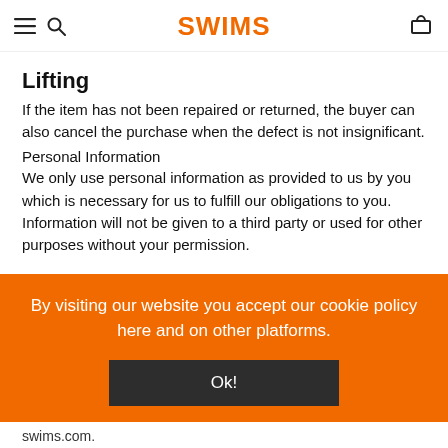SWIMS
Lifting
If the item has not been repaired or returned, the buyer can also cancel the purchase when the defect is not insignificant.
Personal Information
We only use personal information as provided to us by you which is necessary for us to fulfill our obligations to you. Information will not be given to a third party or used for other purposes without your permission
By visiting our website you accept our cookie policy here and on other platforms.
Ok!
swims.com.